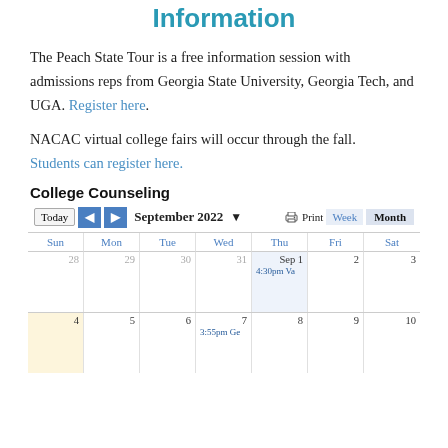Information
The Peach State Tour is a free information session with admissions reps from Georgia State University, Georgia Tech, and UGA. Register here.
NACAC virtual college fairs will occur through the fall. Students can register here.
College Counseling
[Figure (screenshot): Google Calendar screenshot showing September 2022 month view with College Counseling events. Week of Aug 28–Sep 3 shows 'Sep 1 4:30pm Va...' event. Week of Sep 4–10 shows Sep 4 (today, highlighted yellow) and '7 3:55pm Ge...' event.]